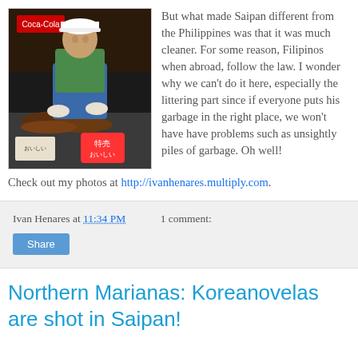[Figure (photo): Person in white cap and blue apron handling grilled meat at a food stall with Coca-Cola sign in background and Japanese price tags visible]
But what made Saipan different from the Philippines was that it was much cleaner. For some reason, Filipinos when abroad, follow the law. I wonder why we can't do it here, especially the littering part since if everyone puts his garbage in the right place, we won't have have problems such as unsightly piles of garbage. Oh well!
Check out my photos at http://ivanhenares.multiply.com.
Ivan Henares at 11:34 PM    1 comment:
Northern Marianas: Koreanovelas are shot in Saipan!